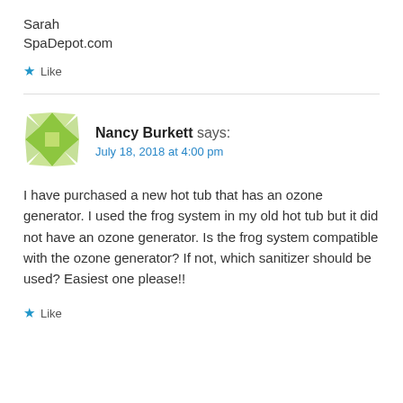Sarah
SpaDepot.com
★ Like
Nancy Burkett says:
July 18, 2018 at 4:00 pm
I have purchased a new hot tub that has an ozone generator. I used the frog system in my old hot tub but it did not have an ozone generator. Is the frog system compatible with the ozone generator? If not, which sanitizer should be used? Easiest one please!!
★ Like